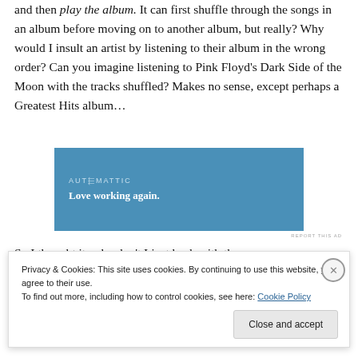and then play the album. It can first shuffle through the songs in an album before moving on to another album, but really? Why would I insult an artist by listening to their album in the wrong order? Can you imagine listening to Pink Floyd's Dark Side of the Moon with the tracks shuffled? Makes no sense, except perhaps a Greatest Hits album…
[Figure (other): Automattic advertisement banner with blue background. Text: 'AUTOMATTIC' and 'Love working again.']
So I thought it; why don't I just hack with the
Privacy & Cookies: This site uses cookies. By continuing to use this website, you agree to their use. To find out more, including how to control cookies, see here: Cookie Policy